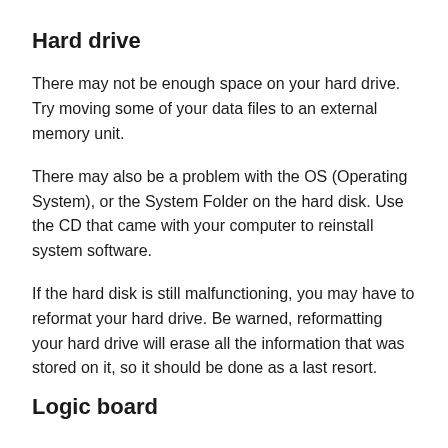Hard drive
There may not be enough space on your hard drive. Try moving some of your data files to an external memory unit.
There may also be a problem with the OS (Operating System), or the System Folder on the hard disk. Use the CD that came with your computer to reinstall system software.
If the hard disk is still malfunctioning, you may have to reformat your hard drive. Be warned, reformatting your hard drive will erase all the information that was stored on it, so it should be done as a last resort.
Logic board